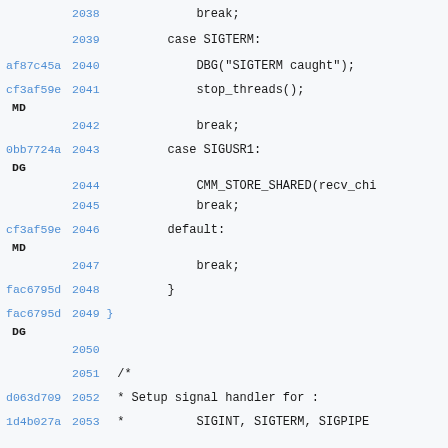Code listing showing C source lines 2038-2053 with git blame hashes and line numbers
2038  break;
2039  case SIGTERM:
af87c45a 2040  DBG("SIGTERM caught");
cf3af59e MD 2041  stop_threads();
2042  break;
0bb7724a DG 2043  case SIGUSR1:
2044  CMM_STORE_SHARED(recv_chi
2045  break;
cf3af59e MD 2046  default:
2047  break;
fac6795d 2048  }
fac6795d DG 2049 }
2050
2051 /*
d063d709 2052  * Setup signal handler for :
1d4b027a 2053  *          SIGINT, SIGTERM, SIGPIPE